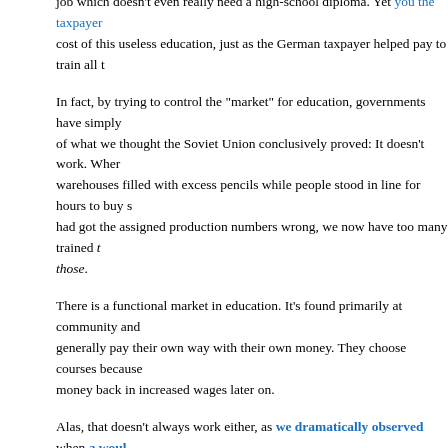job which doesn't even really need a high-school diploma.  Yet you the taxpayer [link] cost of this useless education, just as the German taxpayer helped pay to train all t[cut]
In fact, by trying to control the "market" for education, governments have simply [cut] of what we thought the Soviet Union conclusively proved: It doesn't work.  Wher[cut] warehouses filled with excess pencils while people stood in line for hours to buy s[cut] had got the assigned production numbers wrong, we now have too many trained t[cut] those.
There is a functional market in education.  It's found primarily at community and [cut] generally pay their own way with their own money.  They choose courses because[cut] money back in increased wages later on.
Alas, that doesn't always work either, as we dramatically observed [link] when a woul[cut] fraud [link] based on his inability to find a job in spite of having graduated.
So let's sum up: Our current education system is failing in even more ways than w[cut] intervention simply makes the problem worse; government subsidy of student loa[cut] on more debt than they can ever repay [link]; government funding merely produces ind[cut] useless degrees that benefit them not at all, at vast expense to the taxpayer.
On the other hand, personal and private provision of education suffers from many[cut]